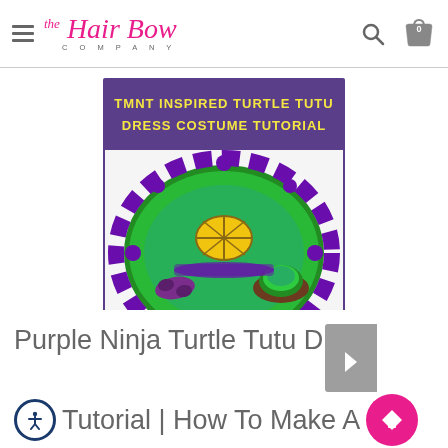The Hair Bow Company
[Figure (photo): TMNT Inspired Turtle Tutu Dress Costume Tutorial - image showing a green and purple tutu dress with turtle shell decoration, purple mask, and accessories laid flat in a circular arrangement]
Purple Ninja Turtle Tutu Dress Tutorial | How To Make A